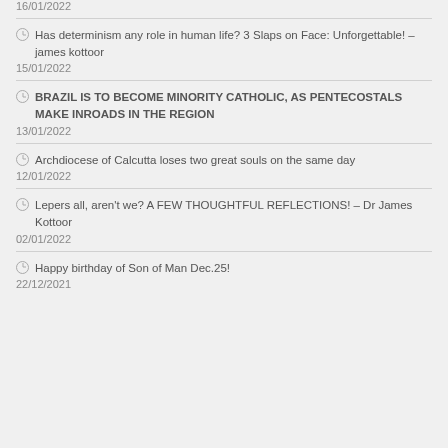16/01/2022
Has determinism any role in human life? 3 Slaps on Face: Unforgettable! – james kottoor
15/01/2022
BRAZIL IS TO BECOME MINORITY CATHOLIC, AS PENTECOSTALS MAKE INROADS IN THE REGION
13/01/2022
Archdiocese of Calcutta loses two great souls on the same day
12/01/2022
Lepers all, aren't we? A FEW THOUGHTFUL REFLECTIONS! – Dr James Kottoor
02/01/2022
Happy birthday of Son of Man Dec.25!
22/12/2021